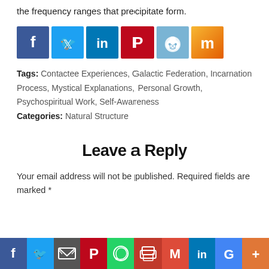the frequency ranges that precipitate form.
[Figure (infographic): Social sharing buttons: Facebook (dark blue), Twitter (light blue), LinkedIn (blue), Pinterest (red), Reddit (light blue), Mix/Stumbleupon (orange gradient)]
Tags: Contactee Experiences, Galactic Federation, Incarnation Process, Mystical Explanations, Personal Growth, Psychospiritual Work, Self-Awareness
Categories: Natural Structure
Leave a Reply
Your email address will not be published. Required fields are marked *
[Figure (infographic): Social sharing bottom bar: Facebook, Twitter, Email, Pinterest, WhatsApp, Print, Gmail, LinkedIn, Google, More]